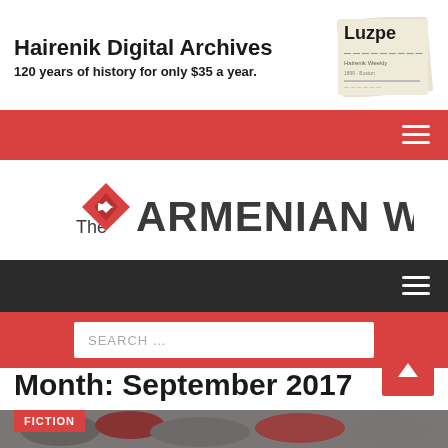[Figure (illustration): Hairenik Digital Archives banner ad showing title text and a newspaper image with Armenian script. Text: 'Hairenik Digital Archives — 120 years of history for only $35 a year.']
[Figure (infographic): Red navigation bar with white hamburger menu icon on right]
[Figure (logo): The Armenian Weekly logo with red diamond/arrow graphic and bold uppercase serif text]
[Figure (infographic): Dark navigation bar with hamburger menu icon on right]
[Figure (infographic): Red bar with white search input box showing placeholder text 'SEARCH ...']
Month: September 2017
[Figure (photo): Partial view of article preview image showing rocks/stones with red and white colors, with a red FICTION category tag overlay]